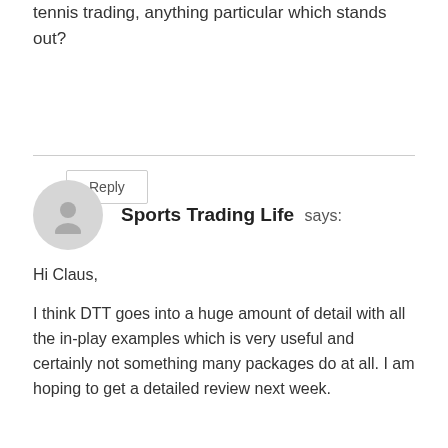tennis trading, anything particular which stands out?
Reply
Sports Trading Life says:
Hi Claus,

I think DTT goes into a huge amount of detail with all the in-play examples which is very useful and certainly not something many packages do at all. I am hoping to get a detailed review next week.